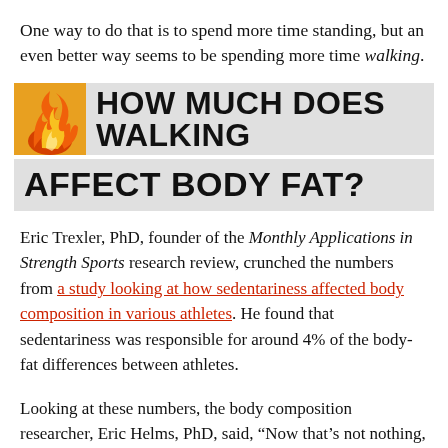One way to do that is to spend more time standing, but an even better way seems to be spending more time walking.
HOW MUCH DOES WALKING AFFECT BODY FAT?
Eric Trexler, PhD, founder of the Monthly Applications in Strength Sports research review, crunched the numbers from a study looking at how sedentariness affected body composition in various athletes. He found that sedentariness was responsible for around 4% of the body-fat differences between athletes.
Looking at these numbers, the body composition researcher, Eric Helms, PhD, said, “Now that’s not nothing, but it also shows that other factors like training, nutrition,